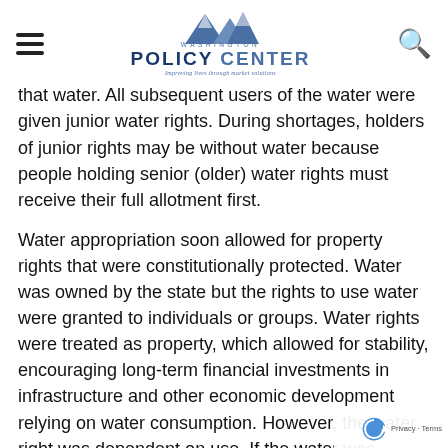Washington Policy Center — Improving lives through market solutions
that water. All subsequent users of the water were given junior water rights. During shortages, holders of junior rights may be without water because people holding senior (older) water rights must receive their full allotment first.
Water appropriation soon allowed for property rights that were constitutionally protected. Water was owned by the state but the rights to use water were granted to individuals or groups. Water rights were treated as property, which allowed for stability, encouraging long-term financial investments in infrastructure and other economic development relying on water consumption. However, the water right was dependent on use. If the water was unused then it was redistributed to more junior rights or taken by the state, creating the policy practice of “use it or lose it”.